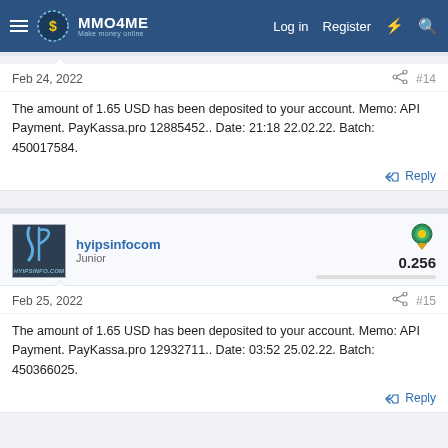MMO4ME — Make money online | Log in | Register
Feb 24, 2022  #14
The amount of 1.65 USD has been deposited to your account. Memo: API Payment. PayKassa.pro 12885452.. Date: 21:18 22.02.22. Batch: 450017584.
Reply
hyipsinfocom  Junior  0.256
Feb 25, 2022  #15
The amount of 1.65 USD has been deposited to your account. Memo: API Payment. PayKassa.pro 12932711.. Date: 03:52 25.02.22. Batch: 450366025.
Reply